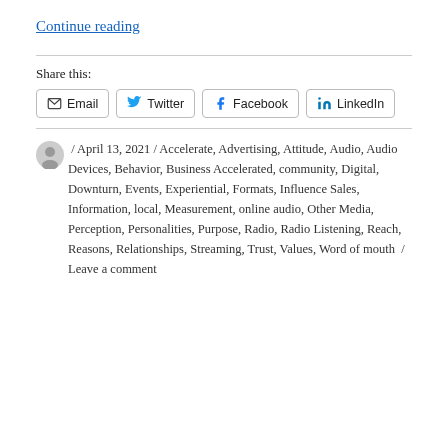Continue reading
Share this:
Email  Twitter  Facebook  LinkedIn
/ April 13, 2021 / Accelerate, Advertising, Attitude, Audio, Audio Devices, Behavior, Business Accelerated, community, Digital, Downturn, Events, Experiential, Formats, Influence Sales, Information, local, Measurement, online audio, Other Media, Perception, Personalities, Purpose, Radio, Radio Listening, Reach, Reasons, Relationships, Streaming, Trust, Values, Word of mouth / Leave a comment